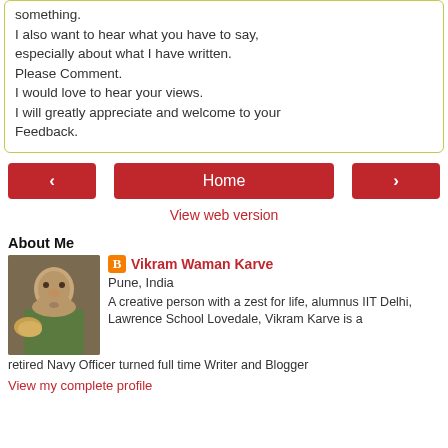something.
I also want to hear what you have to say, especially about what I have written.
Please Comment.
I would love to hear your views.
I will greatly appreciate and welcome to your Feedback.
[Figure (screenshot): Navigation bar with left arrow button, Home button, and right arrow button]
View web version
About Me
[Figure (photo): Profile photo of Vikram Waman Karve with a dog]
Vikram Waman Karve
Pune, India
A creative person with a zest for life, alumnus IIT Delhi, Lawrence School Lovedale, Vikram Karve is a retired Navy Officer turned full time Writer and Blogger
View my complete profile